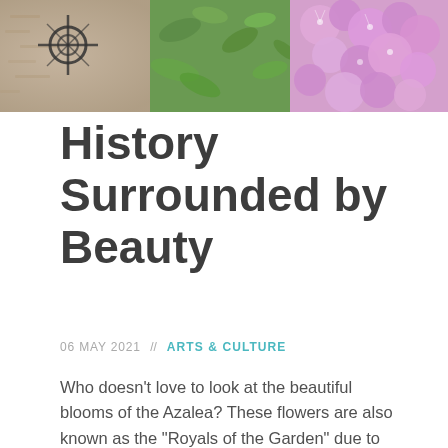[Figure (photo): Photograph of azalea flowers in pink/purple bloom with green foliage and a decorative iron element visible in the background, used as a banner image at the top of the article.]
History Surrounded by Beauty
06 MAY 2021  //  ARTS & CULTURE
Who doesn't love to look at the beautiful blooms of the Azalea? These flowers are also known as the “Royals of the Garden” due to their notoriously vibrant colors! In Charleston, South Carolina, you can see these flowers blooming all across our city from late March until early May. We have all sorts of azaleas growing all over, including (but not limited to)